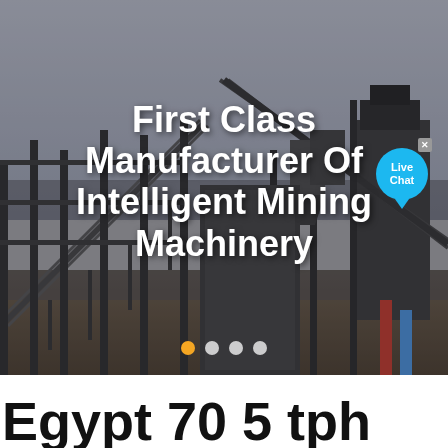[Figure (photo): Industrial mining machinery facility with steel conveyor structures, scaffolding, and heavy equipment against an overcast sky. Large industrial plant with conveyor belts and structural steel frames.]
First Class Manufacturer Of Intelligent Mining Machinery
Egypt 70 5 tph